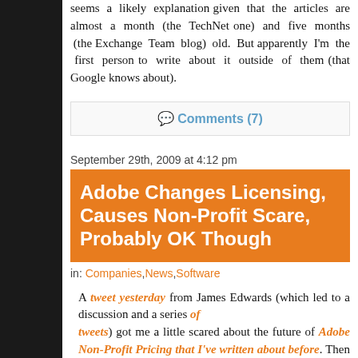seems a likely explanation given that the articles are almost a month (the TechNet one) and five months (the Exchange Team blog) old. But apparently I'm the first person to write about it outside of them (that Google knows about).
Comments (7)
September 29th, 2009 at 4:12 pm
Adobe Changes Licensing, Causes Non-Profit Scare, Probably OK Though
in: Companies, News, Software
A tweet yesterday from James Edwards (which led to a discussion and a series of tweets) got me a little scared about the future of Adobe Non-Profit Pricing that I've written about before. Then today I got